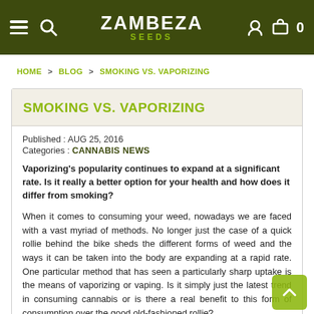ZAMBEZA SEEDS
HOME > BLOG > SMOKING VS. VAPORIZING
SMOKING VS. VAPORIZING
Published : AUG 25, 2016
Categories : CANNABIS NEWS
Vaporizing's popularity continues to expand at a significant rate. Is it really a better option for your health and how does it differ from smoking?
When it comes to consuming your weed, nowadays we are faced with a vast myriad of methods. No longer just the case of a quick rollie behind the bike sheds the different forms of weed and the ways it can be taken into the body are expanding at a rapid rate. One particular method that has seen a particularly sharp uptake is the means of vaporizing or vaping. Is it simply just the latest trend in consuming cannabis or is there a real benefit to this form of consumption over the good old-fashioned rollie?